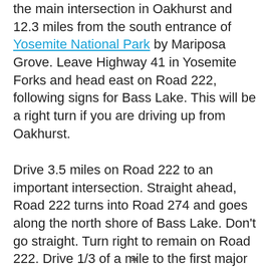the main intersection in Oakhurst and 12.3 miles from the south entrance of Yosemite National Park by Mariposa Grove. Leave Highway 41 in Yosemite Forks and head east on Road 222, following signs for Bass Lake. This will be a right turn if you are driving up from Oakhurst.
Drive 3.5 miles on Road 222 to an important intersection. Straight ahead, Road 222 turns into Road 274 and goes along the north shore of Bass Lake. Don't go straight. Turn right to remain on Road 222. Drive 1/3 of a mile to the first major intersection after a couple roads on the right into a development of cabins. Turn right again, following